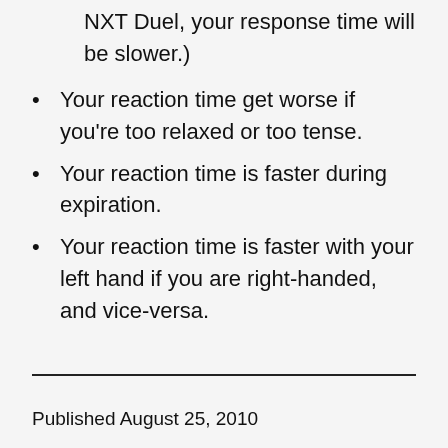NXT Duel, your response time will be slower.)
Your reaction time get worse if you're too relaxed or too tense.
Your reaction time is faster during expiration.
Your reaction time is faster with your left hand if you are right-handed, and vice-versa.
Published August 25, 2010